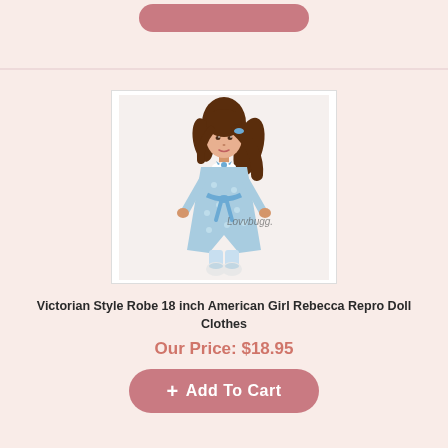[Figure (photo): A partial view of a previous product card with a pink 'Add To Cart' button at the top]
[Figure (photo): An 18-inch American Girl doll named Rebecca wearing a Victorian style blue floral robe with white collar and blue bow, white boots. Watermark reads 'Lovvbugg.' on the image.]
Victorian Style Robe 18 inch American Girl Rebecca Repro Doll Clothes
Our Price: $18.95
+ Add To Cart